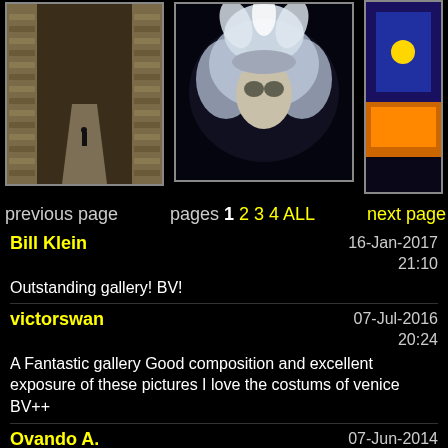[Figure (photo): Narrow alley with brick walls and a lone person walking, perspective shot]
[Figure (photo): Venice carnival masquerade costumes in white/silver feathers and masks against dark background]
[Figure (photo): Partial view of colorful costume/flag, blue and orange, partially cropped]
previous page
pages 1 2 3 4 ALL
next page
Bill Klein
16-Jan-2017
21:10
Outstanding gallery! BV!
victorswan
07-Jul-2016
20:24
A Fantastic gallery Good composition and excellent exposure of these pictures I love the costums of venice BV++
Ovando A.
07-Jun-2014
03:22
Fantastic gallery! big V!
Guest
29-Sep-2012
00:10
Stunning work! Extraordinary images!
29-Jun-2013